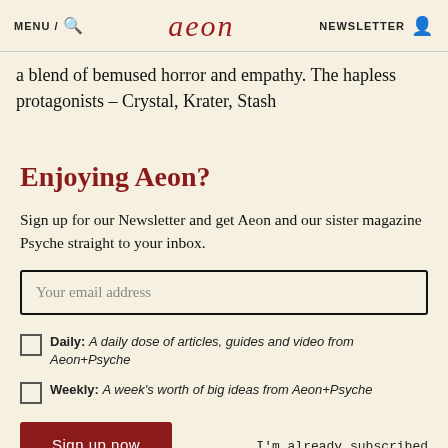MENU / 🔍   aeon   NEWSLETTER 👤
a blend of bemused horror and empathy. The hapless protagonists – Crystal, Krater, Stash
Enjoying Aeon?
Sign up for our Newsletter and get Aeon and our sister magazine Psyche straight to your inbox.
Your email address
Daily: A daily dose of articles, guides and video from Aeon+Psyche
Weekly: A week's worth of big ideas from Aeon+Psyche
Sign up now
I'm already subscribed
Privacy policy